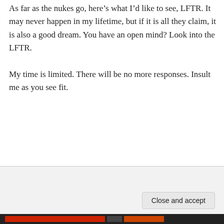As far as the nukes go, here’s what I’d like to see, LFTR. It may never happen in my lifetime, but if it is all they claim, it is also a good dream. You have an open mind? Look into the LFTR.

My time is limited. There will be no more responses. Insult me as you see fit.
Log in to Reply
MorinMoss on December 8, 2013 at 4:03 am
Privacy & Cookies: This site uses cookies. By continuing to use this website, you agree to their use.
To find out more, including how to control cookies, see here: Cookie Policy